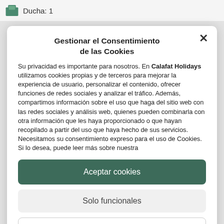Ducha: 1
Gestionar el Consentimiento de las Cookies
Su privacidad es importante para nosotros. En Calafat Holidays utilizamos cookies propias y de terceros para mejorar la experiencia de usuario, personalizar el contenido, ofrecer funciones de redes sociales y analizar el tráfico. Además, compartimos información sobre el uso que haga del sitio web con las redes sociales y análisis web, quienes pueden combinarla con otra información que les haya proporcionado o que hayan recopilado a partir del uso que haya hecho de sus servicios. Necesitamos su consentimiento expreso para el uso de Cookies. Si lo desea, puede leer más sobre nuestra
Aceptar cookies
Solo funcionales
Ver preferencias